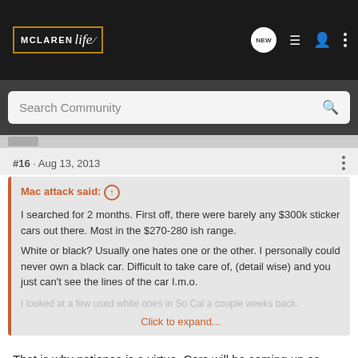McLaren Life — navigation bar with logo, NEW button, list icon, user icon, dots icon
Search Community
#16 · Aug 13, 2013
Mac attack said: ↑
I searched for 2 months. First off, there were barely any $300k sticker cars out there. Most in the $270-280 ish range.
White or black? Usually one hates one or the other. I personally could never own a black car. Difficult to take care of, (detail wise) and you just can't see the lines of the car I.m.o.
I looked at a few used white ones in So Cal a couple weeks back.
Click to expand...
That is why patience is a virtue. Cars will be coming up as more and more owner's upgrade to the Spider version.